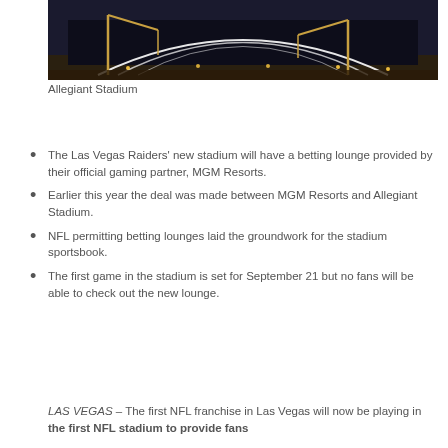[Figure (photo): Night-time construction photo of Allegiant Stadium with cranes and illuminated arch structure]
Allegiant Stadium
The Las Vegas Raiders' new stadium will have a betting lounge provided by their official gaming partner, MGM Resorts.
Earlier this year the deal was made between MGM Resorts and Allegiant Stadium.
NFL permitting betting lounges laid the groundwork for the stadium sportsbook.
The first game in the stadium is set for September 21 but no fans will be able to check out the new lounge.
LAS VEGAS – The first NFL franchise in Las Vegas will now be playing in the first NFL stadium to provide fans